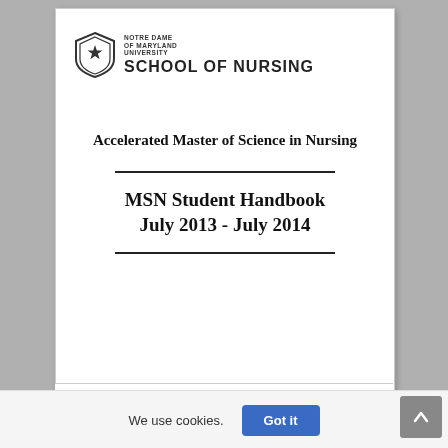[Figure (logo): Notre Dame of Maryland University School of Nursing shield logo with university name and school name]
Accelerated Master of Science in Nursing
MSN Student Handbook
July 2013 - July 2014
MSN STUDENT HANDBOOK JULY 2013 - JULY 2014 -